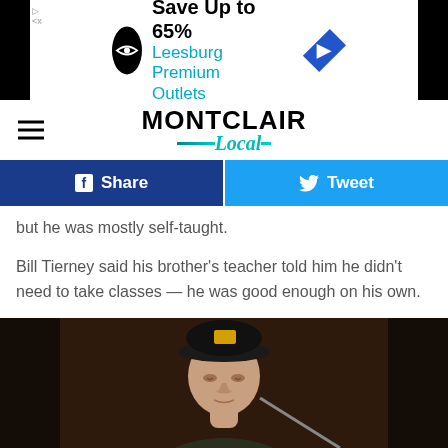[Figure (screenshot): Advertisement banner for Leesburg Premium Outlets — Save Up to 65%]
MONTCLAIR Local
[Figure (screenshot): Facebook Share and Twitter Tweet social sharing buttons]
but he was mostly self-taught.
Bill Tierney said his brother's teacher told him he didn't need to take classes — he was good enough on his own.
“That was his fun in life,” Bill Tierney said. “After being a father, being a musician was his passion.”
[Figure (photo): Black and white photo of a young man wearing a dark baseball cap with a yellow emblem, looking down, near a microphone in a dark setting.]